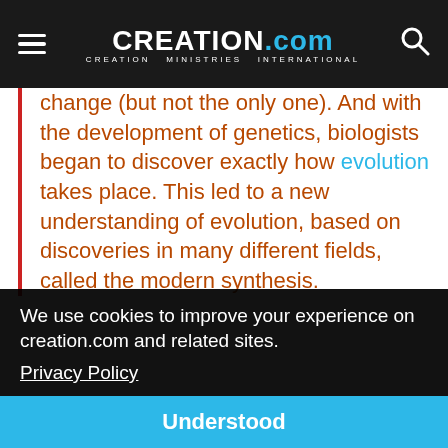CREATION.com — CREATION MINISTRIES INTERNATIONAL
change (but not the only one). And with the development of genetics, biologists began to discover exactly how evolution takes place. This led to a new understanding of evolution, based on discoveries in many different fields, called the modern synthesis.
Yet as geneticist John Sanford showed in his book
We use cookies to improve your experience on creation.com and related sites.
Privacy Policy
[that all life had a single common ancestor]. They
Understood